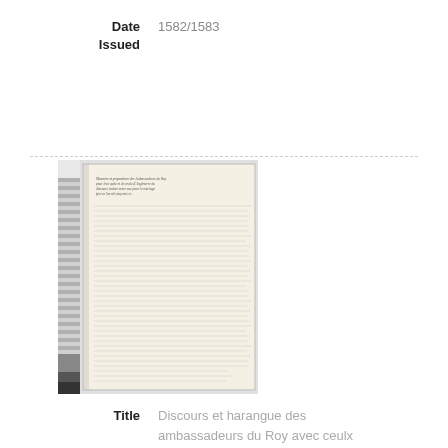Date Issued    1582/1583
[Figure (photo): Photograph of a handwritten historical manuscript page with a ruler/scale strip on the left side. The manuscript shows dense cursive writing in old French script.]
Title    Discours et harangue des ambassadeurs du Roy avec ceulx d'Angleterre touchant le pourparler du mariage d'entre monseigneur le duc